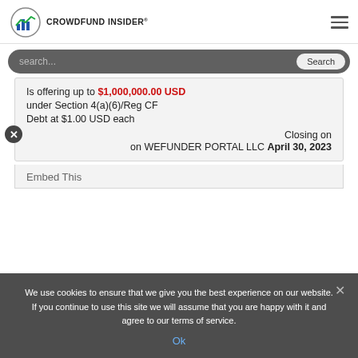[Figure (logo): Crowdfund Insider logo with bar chart icon and text]
search...
Is offering up to $1,000,000.00 USD under Section 4(a)(6)/Reg CF Debt at $1.00 USD each Closing on on WEFUNDER PORTAL LLC April 30, 2023
Embed This
We use cookies to ensure that we give you the best experience on our website. If you continue to use this site we will assume that you are happy with it and agree to our terms of service.
Ok